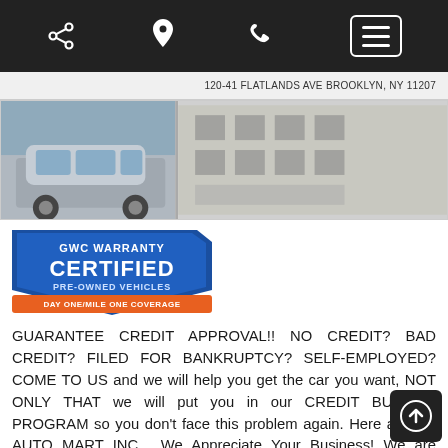Navigation bar with share, location, phone, and menu icons
120-41 FLATLANDS AVE BROOKLYN, NY 11207
[Figure (photo): Car dealership photo strip showing a gray Mercedes SUV and interior]
[Figure (logo): GWC Warranty Certified Pre-Owned Vehicles badge, Day One/Mile One Coverage]
GUARANTEE CREDIT APPROVAL!! NO CREDIT? BAD CREDIT? FILED FOR BANKRUPTCY? SELF-EMPLOYED? COME TO US and we will help you get the car you want, NOT ONLY THAT we will put you in our CREDIT BUILDER PROGRAM so you don't face this problem again. Here at NYC AUTO MART INC . We Appreciate Your Business! We are looking forward to seeing you soon at our dealership ,we are located at 120-41 FLATLANDS AVE BROOKLYN NY 11207, Call 718-484-7540 to schedule an appointment. We are proud to offer Guaranteed Credit Approval regardless of your Credit History (Disclaimer) price listed above does not include taxes, plates, registra dealer fee, and any other applicable charges. please co